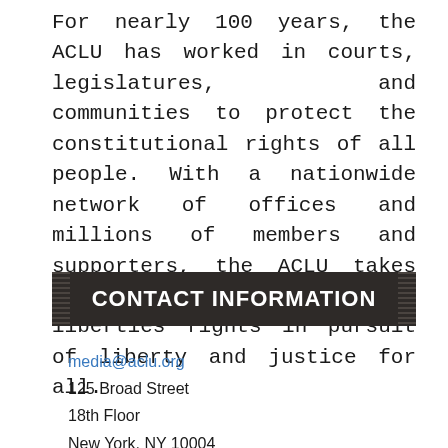For nearly 100 years, the ACLU has worked in courts, legislatures, and communities to protect the constitutional rights of all people. With a nationwide network of offices and millions of members and supporters, the ACLU takes on the toughest civil liberties fights in pursuit of liberty and justice for all.
CONTACT INFORMATION
media@aclu.org
125 Broad Street
18th Floor
New York, NY 10004
United States
(212) 549-2666